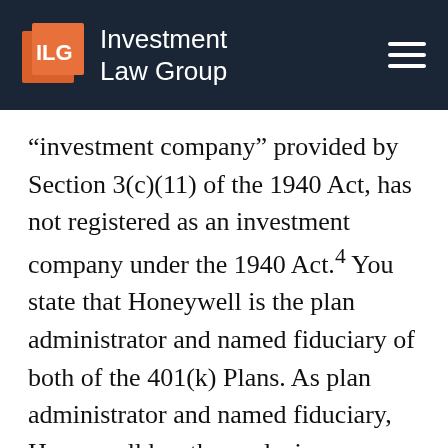Investment Law Group
“investment company” provided by Section 3(c)(11) of the 1940 Act, has not registered as an investment company under the 1940 Act.4 You state that Honeywell is the plan administrator and named fiduciary of both of the 401(k) Plans. As plan administrator and named fiduciary, Honeywell has the exclusive discretionary authority and power to control and manage all aspects of both of the 401(k) Plans within the parameters of the documents governing the Plans, including